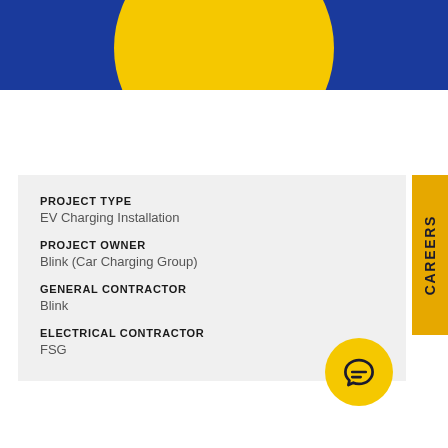[Figure (logo): Blue banner with large yellow circle (Blink/FSG logo) partially visible at top]
PROJECT TYPE
EV Charging Installation
PROJECT OWNER
Blink (Car Charging Group)
GENERAL CONTRACTOR
Blink
ELECTRICAL CONTRACTOR
FSG
[Figure (illustration): Yellow circle with dark blue speech bubble / chat icon inside]
[Figure (other): CAREERS vertical tab in amber/golden yellow on right edge]